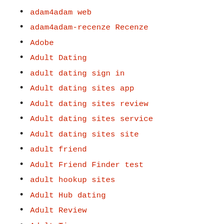adam4adam web
adam4adam-recenze Recenze
Adobe
Adult Dating
adult dating sign in
Adult dating sites app
Adult dating sites review
Adult dating sites service
Adult dating sites site
adult friend
Adult Friend Finder test
adult hookup sites
Adult Hub dating
Adult Review
Adult Tips
Adult-Cams Anal Play XXX Live Porn
Adult-Cams Bears Webcam Chat
Adult-Cams MILF XXX Web Cams Chat Rooms
Adultchathookups.Com Female
adultcrowd adult dating online
adultdatingwebsites.net online-free-dating
adultfriendfinder app
adultfriendfinder dating